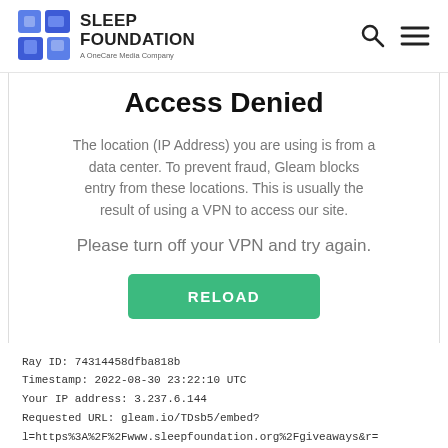Sleep Foundation — A OneCare Media Company
Access Denied
The location (IP Address) you are using is from a data center. To prevent fraud, Gleam blocks entry from these locations. This is usually the result of using a VPN to access our site.
Please turn off your VPN and try again.
RELOAD
Ray ID: 74314458dfba818b
Timestamp: 2022-08-30 23:22:10 UTC
Your IP address: 3.237.6.144
Requested URL: gleam.io/TDsb5/embed?
l=https%3A%2F%2Fwww.sleepfoundation.org%2Fgiveaways&r=